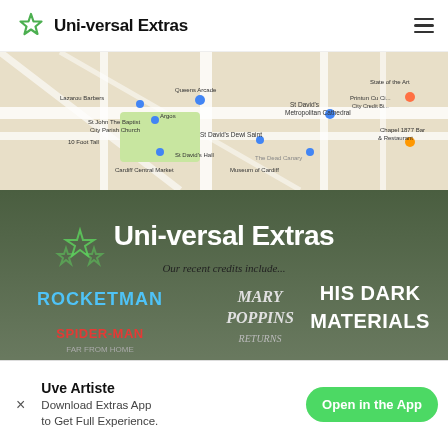Uni-versal Extras
[Figure (map): Google Maps view showing Cardiff city centre with landmarks including Cardiff Central Market, Museum of Cardiff, St David's Hall, St David's Metropolitan Cathedral, and other local points of interest.]
[Figure (infographic): Uni-versal Extras promotional banner with green star logo, text 'Uni-versal Extras', 'Our recent credits include...' and logos for Rocketman, Spider-Man: Far From Home, Mary Poppins Returns, and His Dark Materials. Bottom text reads 'Want to get paid as a']
Uve Artiste
Download Extras App to Get Full Experience.
Open in the App